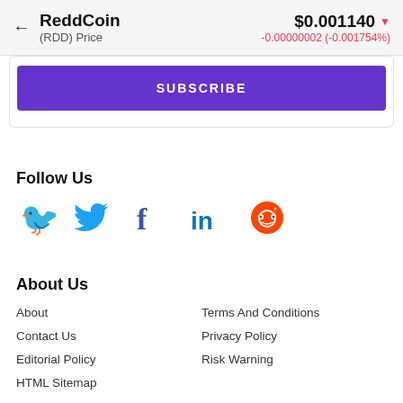← ReddCoin (RDD) Price | $0.001140 ▼ -0.00000002 (-0.001754%)
SUBSCRIBE
Follow Us
[Figure (infographic): Social media icons: Twitter (blue bird), Facebook (blue f), LinkedIn (blue in), Reddit (orange alien mascot)]
About Us
About
Contact Us
Editorial Policy
HTML Sitemap
Terms And Conditions
Privacy Policy
Risk Warning